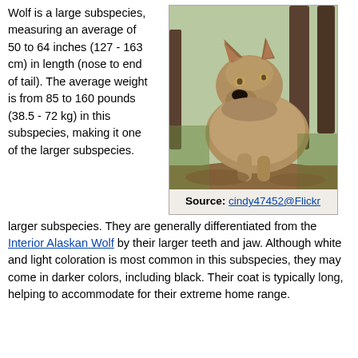Wolf is a large subspecies, measuring an average of 50 to 64 inches (127 - 163 cm) in length (nose to end of tail). The average weight is from 85 to 160 pounds (38.5 - 72 kg) in this subspecies, making it one of the larger subspecies. They are generally differentiated from the Interior Alaskan Wolf by their larger teeth and jaw. Although white and light coloration is most common in this subspecies, they may come in darker colors, including black. Their coat is typically long, helping to accommodate for their extreme home range.
[Figure (photo): Photograph of a wolf (large subspecies) outdoors, facing the camera with mouth open showing tongue, brownish-grey fur, trees in background.]
Source: cindy47452@Flickr